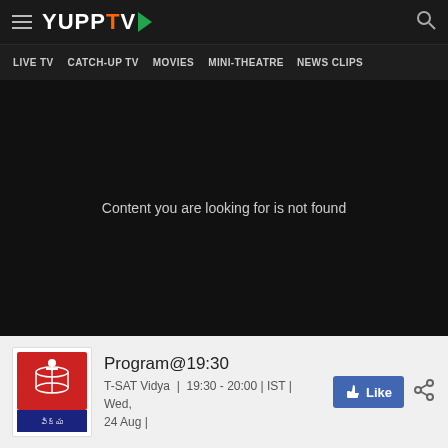YuppTV - LIVE TV | CATCH-UP TV | MOVIES | MINI-THEATRE | NEWS CLIPS
[Figure (screenshot): Dark content area showing 'Content you are looking for is not found' message]
Content you are looking for is not found
[Figure (logo): T-SAT Vidya channel logo - red and white with book icon]
Program@19:30
T-SAT Vidya | 19:30 - 20:00 | IST | Wed, 24 Aug |